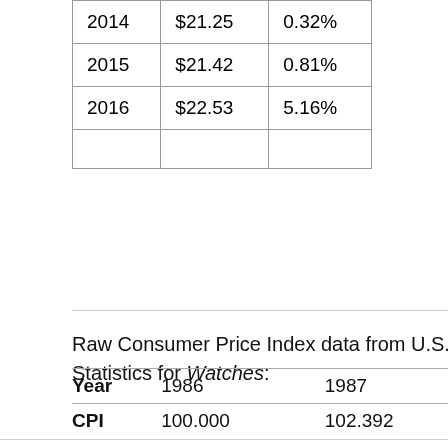| Year | Price | Change |
| --- | --- | --- |
| 2014 | $21.25 | 0.32% |
| 2015 | $21.42 | 0.81% |
| 2016 | $22.53 | 5.16% |
|  |  |  |
Raw Consumer Price Index data from U.S. Bureau of Labor Statistics for Watches:
| Year | 1986 | 1987 | 1988 |
| --- | --- | --- | --- |
| CPI | 100.000 | 102.392 | 106.0 |